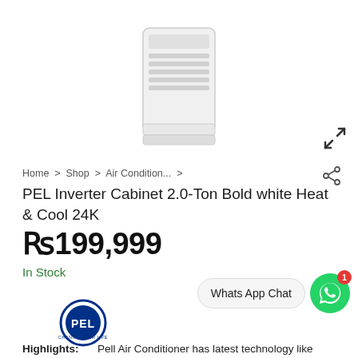[Figure (screenshot): E-commerce product page screenshot showing a white cabinet air conditioner, search bar at top, product details below]
Home > Shop > Air Condition... >
PEL Inverter Cabinet 2.0-Ton Bold white Heat & Cool 24K
Rs199,999
In Stock
Whats App Chat
[Figure (logo): PEL logo - blue circle with PEL text and CHANGE YOUR LIFE tagline]
Highlights: Pell Air Conditioner has latest technology like